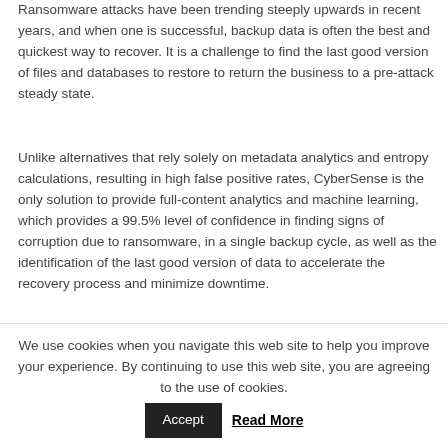Ransomware attacks have been trending steeply upwards in recent years, and when one is successful, backup data is often the best and quickest way to recover. It is a challenge to find the last good version of files and databases to restore to return the business to a pre-attack steady state.
Unlike alternatives that rely solely on metadata analytics and entropy calculations, resulting in high false positive rates, CyberSense is the only solution to provide full-content analytics and machine learning, which provides a 99.5% level of confidence in finding signs of corruption due to ransomware, in a single backup cycle, as well as the identification of the last good version of data to accelerate the recovery process and minimize downtime.
We use cookies when you navigate this web site to help you improve your experience. By continuing to use this web site, you are agreeing to the use of cookies.